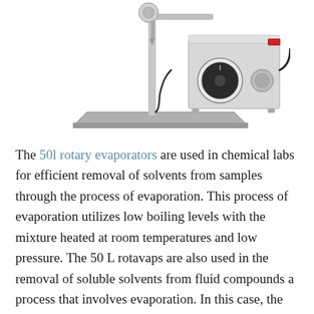[Figure (photo): Laboratory rotary evaporator equipment on a metallic base plate with a motorized unit and a circular dial/control knob, photographed against a white background.]
The 50l rotary evaporators are used in chemical labs for efficient removal of solvents from samples through the process of evaporation. This process of evaporation utilizes low boiling levels with the mixture heated at room temperatures and low pressure. The 50 L rotavaps are also used in the removal of soluble solvents from fluid compounds a process that involves evaporation. In this case, the soluble samples